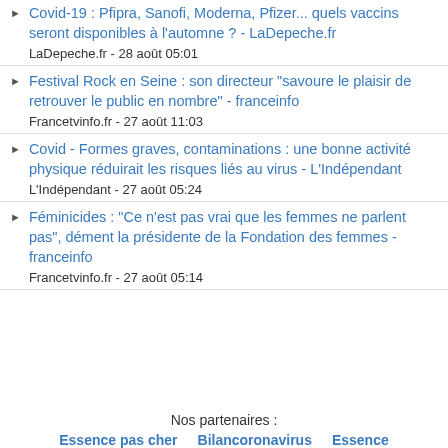Covid-19 : Pfipra, Sanofi, Moderna, Pfizer... quels vaccins seront disponibles à l'automne ? - LaDepeche.fr
LaDepeche.fr - 28 août 05:01
Festival Rock en Seine : son directeur "savoure le plaisir de retrouver le public en nombre" - franceinfo
Francetvinfo.fr - 27 août 11:03
Covid - Formes graves, contaminations : une bonne activité physique réduirait les risques liés au virus - L'Indépendant
L'Indépendant - 27 août 05:24
Féminicides : "Ce n'est pas vrai que les femmes ne parlent pas", dément la présidente de la Fondation des femmes - franceinfo
Francetvinfo.fr - 27 août 05:14
Nos partenaires :
Essence pas cher   Bilancoronavirus   Essence